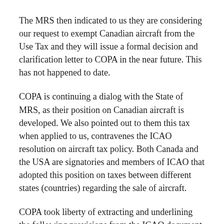The MRS then indicated to us they are considering our request to exempt Canadian aircraft from the Use Tax and they will issue a formal decision and clarification letter to COPA in the near future. This has not happened to date.
COPA is continuing a dialog with the State of MRS, as their position on Canadian aircraft is developed. We also pointed out to them this tax when applied to us, contravenes the ICAO resolution on aircraft tax policy. Both Canada and the USA are signatories and members of ICAO that adopted this position on taxes between different states (countries) regarding the sale of aircraft.
COPA took liberty of extracting and underlining the following provisions from the ICAO document we believe applicable, for the State of Maine Revenue Services to review.
With respect to...